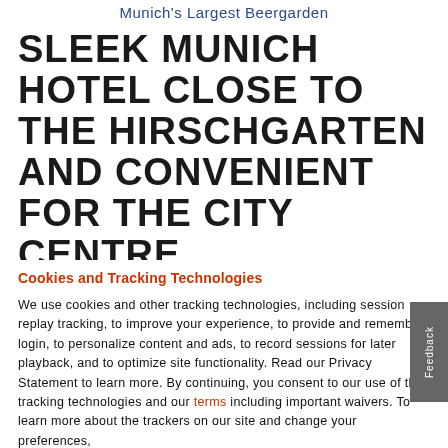Munich's Largest Beergarden
SLEEK MUNICH HOTEL CLOSE TO THE HIRSCHGARTEN AND CONVENIENT FOR THE CITY CENTRE
Cookies and Tracking Technologies
We use cookies and other tracking technologies, including session replay tracking, to improve your experience, to provide and remember login, to personalize content and ads, to record sessions for later playback, and to optimize site functionality. Read our Privacy Statement to learn more. By continuing, you consent to our use of these tracking technologies and our terms including important waivers. To learn more about the trackers on our site and change your preferences, View Settings.
ACCEPT
CHECK AVAILABILITY